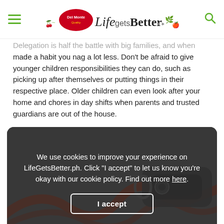Del Monte Life Gets Better
Delegation is half the battle with big families, and when made a habit you nag a lot less. Don't be afraid to give younger children responsibilities they can do, such as picking up after themselves or putting things in their respective place. Older children can even look after your home and chores in day shifts when parents and trusted guardians are out of the house.
[Figure (screenshot): Cookie consent overlay with dark semi-transparent background over a photo of a whistle and lanyard. Text reads: We use cookies to improve your experience on LifeGetsBetter.ph. Click "I accept" to let us know you're okay with our cookie policy. Find out more here. With an 'I accept' button.]